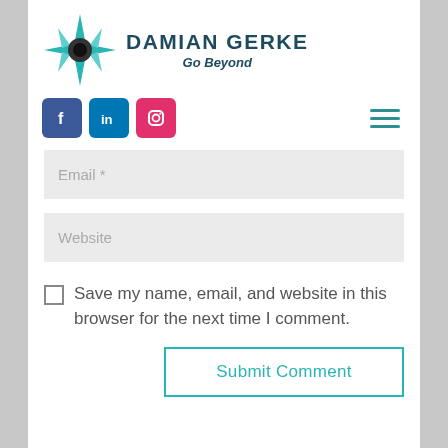[Figure (logo): Damian Gerke Go Beyond logo with compass rose icon and text]
[Figure (infographic): Social media icons (Facebook, LinkedIn, Instagram) and hamburger menu icon]
Email *
Website
Save my name, email, and website in this browser for the next time I comment.
Submit Comment